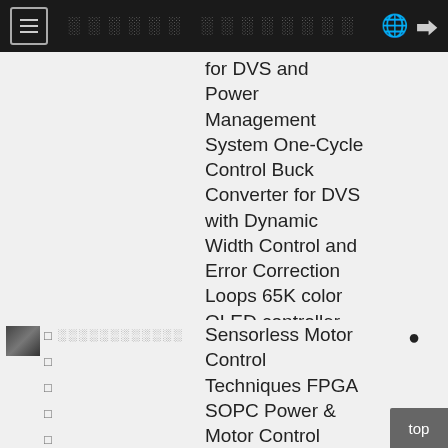░░░░░░ ░░░░░░░░
for DVS and Power Management System One-Cycle Control Buck Converter for DVS with Dynamic Width Control and Error Correction Loops 65K color OLED controller and driver DC-AC Inverter
Sensorless Motor Control Techniques FPGA SOPC Power & Motor Control